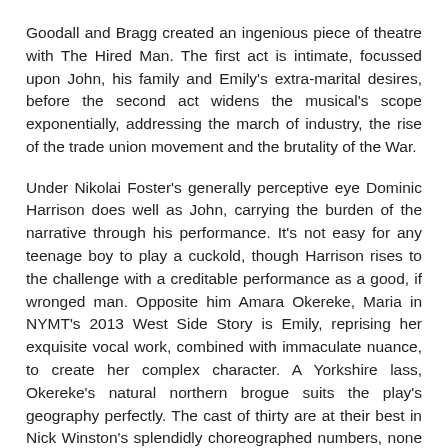Goodall and Bragg created an ingenious piece of theatre with The Hired Man. The first act is intimate, focussed upon John, his family and Emily's extra-marital desires, before the second act widens the musical's scope exponentially, addressing the march of industry, the rise of the trade union movement and the brutality of the War.
Under Nikolai Foster's generally perceptive eye Dominic Harrison does well as John, carrying the burden of the narrative through his performance. It's not easy for any teenage boy to play a cuckold, though Harrison rises to the challenge with a creditable performance as a good, if wronged man. Opposite him Amara Okereke, Maria in NYMT's 2013 West Side Story is Emily, reprising her exquisite vocal work, combined with immaculate nuance, to create her complex character. A Yorkshire lass, Okereke's natural northern brogue suits the play's geography perfectly. The cast of thirty are at their best in Nick Winston's splendidly choreographed numbers, none better than the multi-part harmonies that close each act, thrilling with the fusion of melody, lyrics and a stage full of young people in